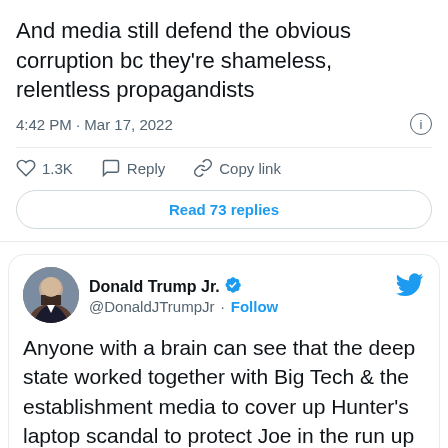And media still defend the obvious corruption bc they're shameless, relentless propagandists
4:42 PM · Mar 17, 2022
1.3K  Reply  Copy link
Read 73 replies
Donald Trump Jr. @DonaldJTrumpJr · Follow
Anyone with a brain can see that the deep state worked together with Big Tech & the establishment media to cover up Hunter's laptop scandal to protect Joe in the run up to the election.
These people are propagandists with zero